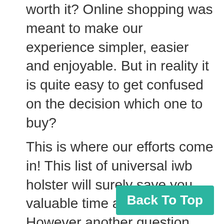worth it? Online shopping was meant to make our experience simpler, easier and enjoyable. But in reality it is quite easy to get confused on the decision which one to buy?
This is where our efforts come in! This list of universal iwb holster will surely save you valuable time and effort. However another question remains, what makes our compilation the best? Or on what basis you should trust this universal iwb holster list.
Is it virtually possible to know every detail of a product for making a perfect purchase? The answer is definitely NO, it's not! T you make the correct decision while buying
Back To Top